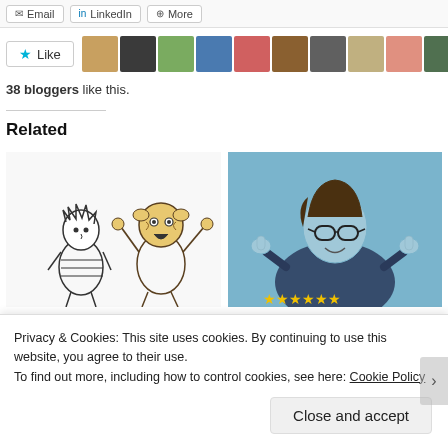[Figure (screenshot): Share buttons row: Email, LinkedIn, More]
[Figure (screenshot): Like button with star icon and row of 10 blogger avatars]
38 bloggers like this.
Related
[Figure (illustration): Cartoon illustration of Calvin and Hobbes characters: Calvin looking sideways, Hobbes with hands up in shock]
November Post For Peace
November 3, 2013
[Figure (photo): Blue-tinted photo of a person with glasses giving two thumbs up]
December Post For Peace
December 20, 2013
Privacy & Cookies: This site uses cookies. By continuing to use this website, you agree to their use.
To find out more, including how to control cookies, see here: Cookie Policy
Close and accept